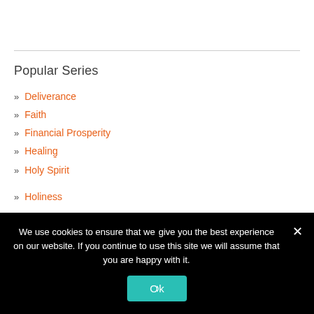Popular Series
» Deliverance
» Faith
» Financial Prosperity
» Healing
» Holy Spirit
» Holiness
We use cookies to ensure that we give you the best experience on our website. If you continue to use this site we will assume that you are happy with it.